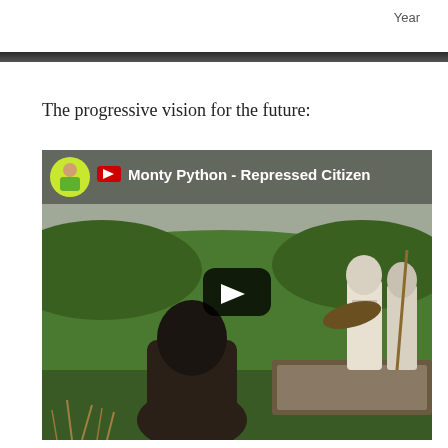Year
The progressive vision for the future:
[Figure (screenshot): YouTube video thumbnail for 'Monty Python - Repressed Citizen', showing a scene from Monty Python and the Holy Grail with a peasant in a field facing knights, with a play button overlay and channel avatar in the top-left corner.]